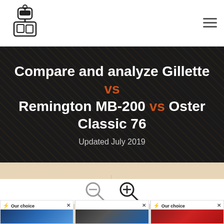Logo and navigation menu
Compare and analyze Gillette vs Remington MB-200 vs Oster Classic 76
Updated July 2019
3 Gadgets   2 Features
[Figure (infographic): Zoom out and zoom in search magnifier icons]
[Figure (photo): Three product cards: Gillette (Our choice), Remington MB-200, Oster Classic 76 (Our choice)]